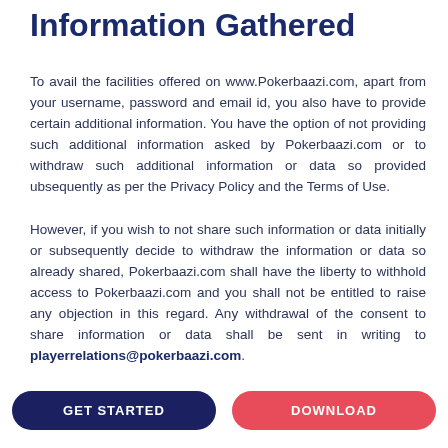Information Gathered
To avail the facilities offered on www.Pokerbaazi.com, apart from your username, password and email id, you also have to provide certain additional information. You have the option of not providing such additional information asked by Pokerbaazi.com or to withdraw such additional information or data so provided ubsequently as per the Privacy Policy and the Terms of Use.
However, if you wish to not share such information or data initially or subsequently decide to withdraw the information or data so already shared, Pokerbaazi.com shall have the liberty to withhold access to Pokerbaazi.com and you shall not be entitled to raise any objection in this regard. Any withdrawal of the consent to share information or data shall be sent in writing to playerrelations@pokerbaazi.com.
GET STARTED
DOWNLOAD